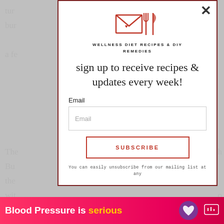[Figure (screenshot): Website popup/modal overlay for newsletter subscription on a wellness recipe blog. Background shows article text partially visible. Modal contains logo (envelope with fork and knife icons), site name, headline, email input field, subscribe button, and unsubscribe note. Bottom has a hot pink advertisement banner for blood pressure.]
WELLNESS DIET RECIPES & DIY REMEDIES
sign up to receive recipes & updates every week!
Email
SUBSCRIBE
You can easily unsubscribe from our mailing list at any
Blood Pressure is serious